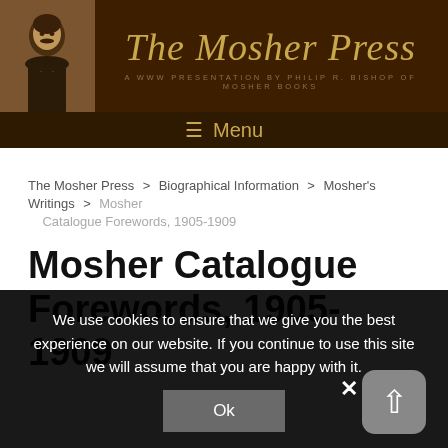The Mosher Press — A WWW Presentation by Philip R. Bishop of Mosher Books
Menu
The Mosher Press > Biographical Information > Mosher's Writings > Mosher Catalogue Forewords, 1905-1909
Mosher Catalogue Forewords, 1905-1909
We use cookies to ensure that we give you the best experience on our website. If you continue to use this site we will assume that you are happy with it. Ok